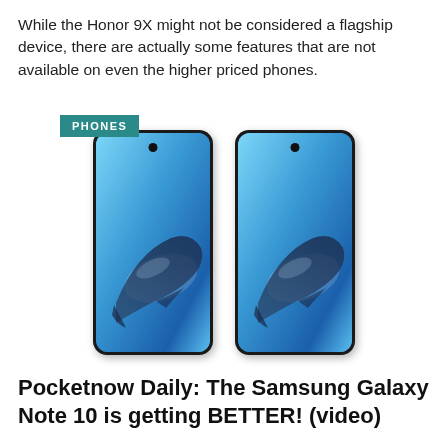While the Honor 9X might not be considered a flagship device, there are actually some features that are not available on even the higher priced phones.
[Figure (photo): Two Samsung Galaxy Note 10 smartphones side by side, both displaying a blue whale wallpaper on their screens. The left phone has a teal 'PHONES' badge overlapping its top-left corner.]
Pocketnow Daily: The Samsung Galaxy Note 10 is getting BETTER! (video)